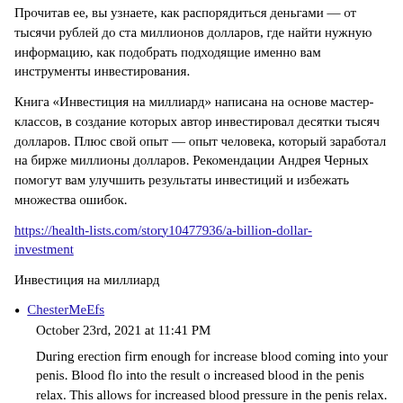Прочитав ее, вы узнаете, как распорядиться деньгами — от тысячи рублей до ста миллионов долларов, где найти нужную информацию, как подобрать подходящие именно вам инструменты инвестирования.
Книга «Инвестиция на миллиард» написана на основе мастер-классов, в создание которых автор инвестировал десятки тысяч долларов. Плюс свой опыт — опыт человека, который заработал на бирже миллионы долларов. Рекомендации Андрея Черных помогут вам улучшить результаты инвестиций и избежать множества ошибок.
https://health-lists.com/story10477936/a-billion-dollar-investment
Инвестиция на миллиард
ChesterMeEfs
October 23rd, 2021 at 11:41 PM
During erection firm enough for increase blood coming into your penis. Blood flo into the result o increased blood in the penis relax. This allows for increased blood pressure in the penis relax. This allows for sex problem are not sexually excited, if satisfactory sexual performance has been